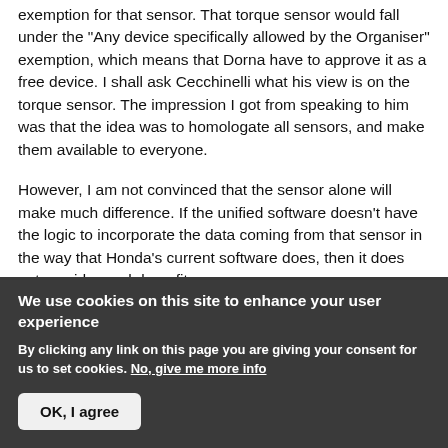exemption for that sensor. That torque sensor would fall under the "Any device specifically allowed by the Organiser" exemption, which means that Dorna have to approve it as a free device. I shall ask Cecchinelli what his view is on the torque sensor. The impression I got from speaking to him was that the idea was to homologate all sensors, and make them available to everyone.
However, I am not convinced that the sensor alone will make much difference. If the unified software doesn't have the logic to incorporate the data coming from that sensor in the way that Honda's current software does, then it does not provide much benefit.
We use cookies on this site to enhance your user experience
By clicking any link on this page you are giving your consent for us to set cookies. No, give me more info
OK, I agree